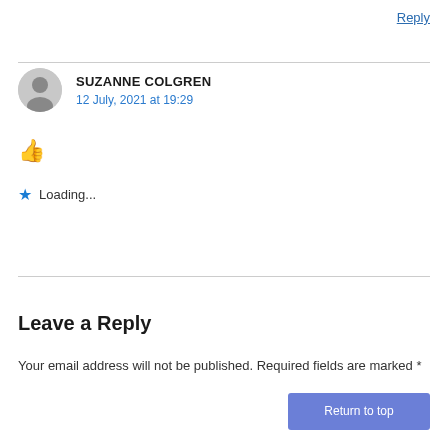Reply
SUZANNE COLGREN
12 July, 2021 at 19:29
👍
★ Loading...
Leave a Reply
Your email address will not be published. Required fields are marked *
Return to top